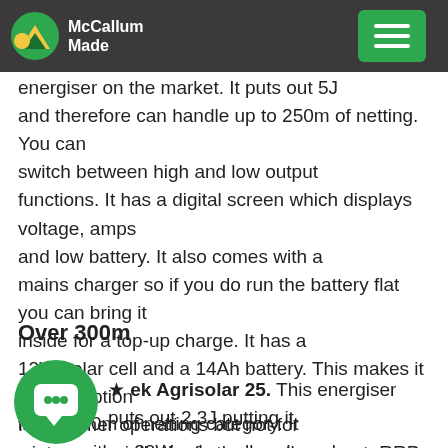McCallum Made
★ Thunderbird S180B. This is the biggest integrated solar energiser on the market. It puts out 5J and therefore can handle up to 250m of netting. You can switch between high and low output functions. It has a digital screen which displays voltage, amps and low battery. It also comes with a mains charger so if you do run the battery flat you can bring it inside for a top-up charge. It has a 12W solar cell and a 14Ah battery. This makes it a good option for summer operations but not for winter especially the further south you get. RRP $689
Over 300m
★ Gallagher Agrisolar 25. This energiser puts out 2.3J putting it in the 300m of netting category. It comes with a 20W solar cell and can be programmed for